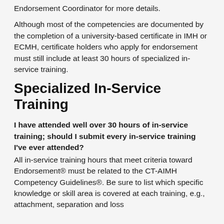Endorsement Coordinator for more details.
Although most of the competencies are documented by the completion of a university-based certificate in IMH or ECMH, certificate holders who apply for endorsement must still include at least 30 hours of specialized in-service training.
Specialized In-Service Training
I have attended well over 30 hours of in-service training; should I submit every in-service training I've ever attended?
All in-service training hours that meet criteria toward Endorsement® must be related to the CT-AIMH Competency Guidelines®. Be sure to list which specific knowledge or skill area is covered at each training, e.g., attachment, separation and loss...